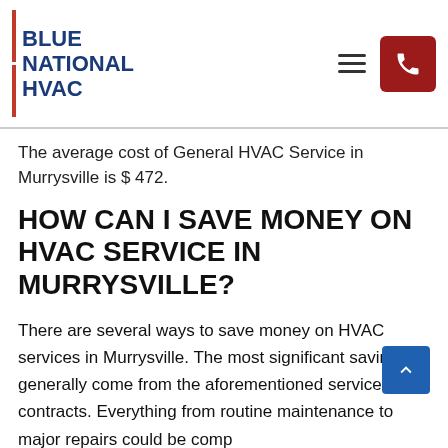BLUE NATIONAL HVAC
The average cost of General HVAC Service in Murrysville is $ 472.
HOW CAN I SAVE MONEY ON HVAC SERVICE IN MURRYSVILLE?
There are several ways to save money on HVAC services in Murrysville. The most significant savings generally come from the aforementioned service contracts. Everything from routine maintenance to major repairs could be completed for little to no cost if you have an active contract.